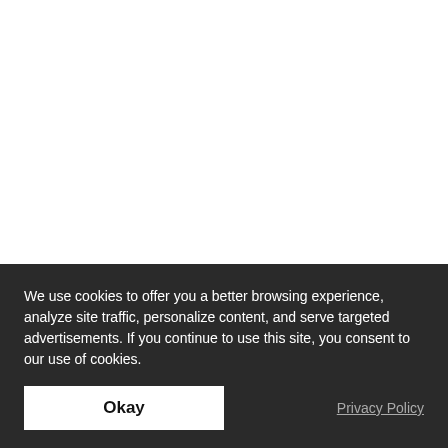9) KEV JUMBA
Where you've seen him: Cracking you up with his comedy YouTube channel. Laughter is the way into the heart, right?
We use cookies to offer you a better browsing experience, analyze site traffic, personalize content, and serve targeted advertisements. If you continue to use this site, you consent to our use of cookies.
Okay
Privacy Policy